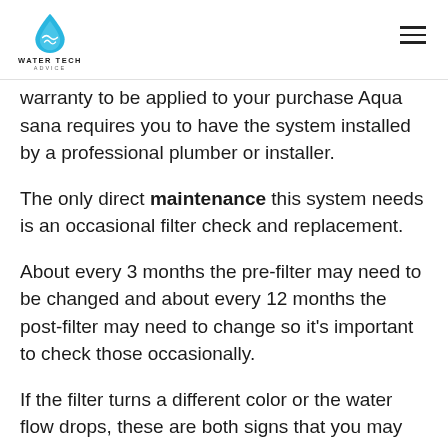WATER TECH ADVICE
warranty to be applied to your purchase Aqua sana requires you to have the system installed by a professional plumber or installer.
The only direct maintenance this system needs is an occasional filter check and replacement.
About every 3 months the pre-filter may need to be changed and about every 12 months the post-filter may need to change so it's important to check those occasionally.
If the filter turns a different color or the water flow drops, these are both signs that you may